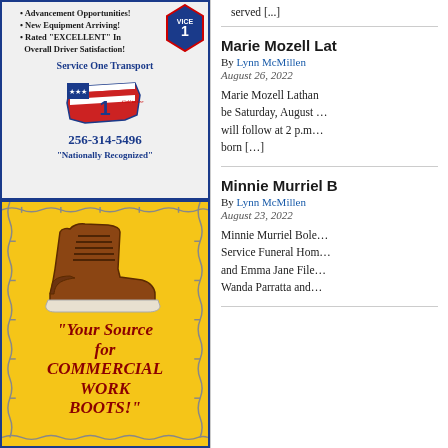[Figure (illustration): Service One Transport advertisement with American flag map graphic, #1 badge logo, bullet points about advancement opportunities and equipment, phone number 256-314-5496]
[Figure (illustration): Yellow work boots advertisement with brown leather boot image, barbed wire border, text 'Your Source for COMMERCIAL WORK BOOTS!']
served [...]
Marie Mozell Lat
By Lynn McMillen
August 26, 2022
Marie Mozell Lathan... be Saturday, August ... will follow at 2 p.m... born [...]
Minnie Murriel B
By Lynn McMillen
August 23, 2022
Minnie Murriel Bole... Service Funeral Hom... and Emma Jane File... Wanda Parratta and...